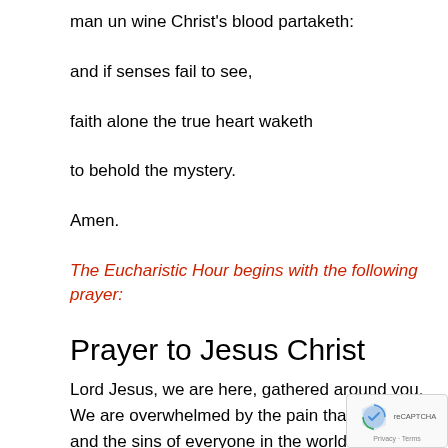man un wine Christ's blood partaketh:
and if senses fail to see,
faith alone the true heart waketh
to behold the mystery.
Amen.
The Eucharistic Hour begins with the following prayer:
Prayer to Jesus Christ
Lord Jesus, we are here, gathered around you. We are overwhelmed by the pain that our sins and the sins of everyone in the world have caused you. We ask you to purify our hearts. Come and stay with us, Lord. Teach us the truth of your Gospel and show us our mission in life so that, in union with you through sanctifying grace, we can please you in all we do and